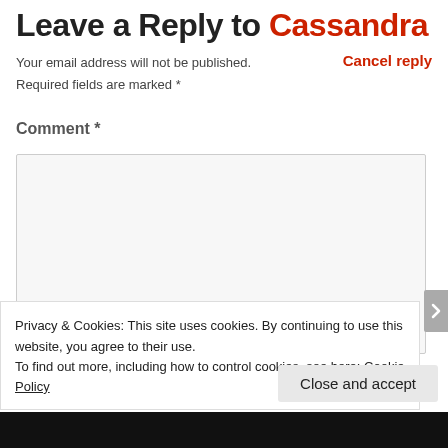Leave a Reply to Cassandra
Cancel reply
Your email address will not be published.
Required fields are marked *
Comment *
[Figure (other): Empty comment text area input box with light grey background]
Privacy & Cookies: This site uses cookies. By continuing to use this website, you agree to their use.
To find out more, including how to control cookies, see here: Cookie Policy
Close and accept